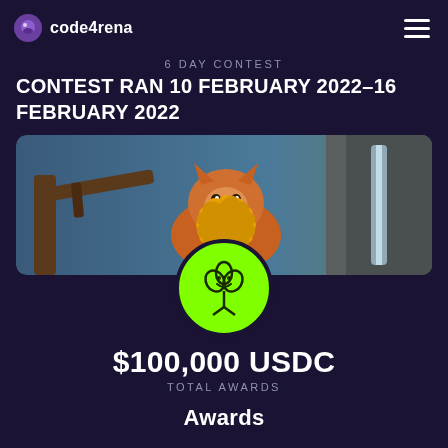code4rena
6 DAY CONTEST
CONTEST RAN 10 FEBRUARY 2022–16 FEBRUARY 2022
[Figure (illustration): Fantasy illustration of a fox with orange sunflower petals around its head, perched near a tree, with a waterfall in the background. Below it is a circular green logo with a stylized clover/flower character.]
$100,000 USDC
TOTAL AWARDS
Awards